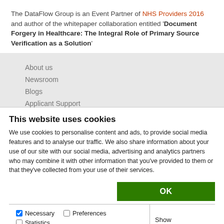The DataFlow Group is an Event Partner of NHS Providers 2016 and author of the whitepaper collaboration entitled 'Document Forgery in Healthcare: The Integral Role of Primary Source Verification as a Solution'
About us
Newsroom
Blogs
Applicant Support
This website uses cookies
We use cookies to personalise content and ads, to provide social media features and to analyse our traffic. We also share information about your use of our site with our social media, advertising and analytics partners who may combine it with other information that you've provided to them or that they've collected from your use of their services.